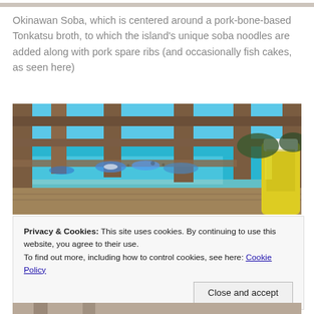[Figure (photo): Partial top edge of a food photo showing Okinawan Soba dish]
Okinawan Soba, which is centered around a pork-bone-based Tonkatsu broth, to which the island's unique soba noodles are added along with pork spare ribs (and occasionally fish cakes, as seen here)
[Figure (photo): Beach scene viewed through a wooden fence/railing with turquoise water, blue and white beach umbrellas, and a yellow drink bottle in the foreground]
Privacy & Cookies: This site uses cookies. By continuing to use this website, you agree to their use.
To find out more, including how to control cookies, see here: Cookie Policy
Close and accept
[Figure (photo): Bottom edge of another photo visible at the bottom of the page]